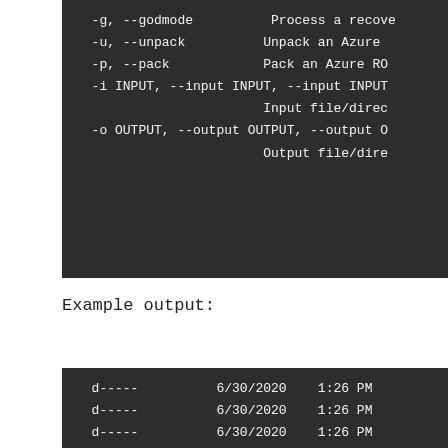[Figure (screenshot): Dark terminal/CLI help text showing command-line options: -g/--godmode, -u/--unpack, -p/--pack, -i INPUT/--input INPUT, -o OUTPUT/--output OUTPUT with partial descriptions visible]
Example output:
[Figure (screenshot): Dark terminal output showing directory listing with entries: d----- 6/30/2020 1:26 PM repeated multiple times]